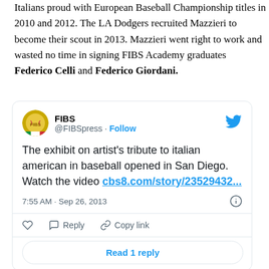Italians proud with European Baseball Championship titles in 2010 and 2012. The LA Dodgers recruited Mazzieri to become their scout in 2013. Mazzieri went right to work and wasted no time in signing FIBS Academy graduates Federico Celli and Federico Giordani.
[Figure (screenshot): Embedded tweet from @FIBSpress (FIBS) dated Sep 26, 2013, 7:55 AM. Tweet reads: 'The exhibit on artist's tribute to italian american in baseball opened in San Diego. Watch the video cbs8.com/story/23529432...' with a 'Read 1 reply' button.]